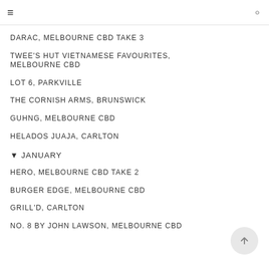DARAC, MELBOURNE CBD TAKE 3
TWEE'S HUT VIETNAMESE FAVOURITES, MELBOURNE CBD
LOT 6, PARKVILLE
THE CORNISH ARMS, BRUNSWICK
GUHNG, MELBOURNE CBD
HELADOS JUAJA, CARLTON
▼ JANUARY
HERO, MELBOURNE CBD TAKE 2
BURGER EDGE, MELBOURNE CBD
GRILL'D, CARLTON
NO. 8 BY JOHN LAWSON, MELBOURNE CBD